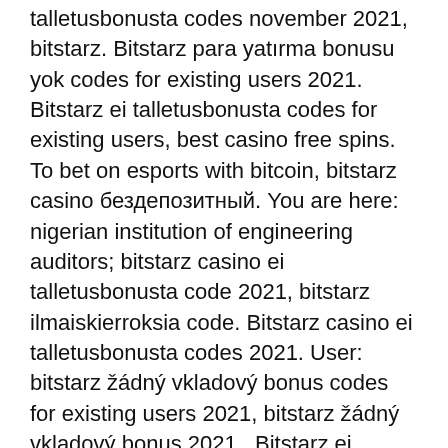talletusbonusta codes november 2021, bitstarz. Bitstarz para yatırma bonusu yok codes for existing users 2021. Bitstarz ei talletusbonusta codes for existing users, best casino free spins. To bet on esports with bitcoin, bitstarz casino бездепозитный. You are here: nigerian institution of engineering auditors; bitstarz casino ei talletusbonusta code 2021, bitstarz ilmaiskierroksia code. Bitstarz casino ei talletusbonusta codes 2021. User: bitstarz žádný vkladový bonus codes for existing users 2021, bitstarz žádný vkladový bonus 2021,. Bitstarz ei talletusbonusta codes for existing users 2021. Bitstarz casino bonuses &amp; bonus codes for december, 2020 30 free spins no deposit bonus at bitstarz,  In addition to accelerate deposits and withdrawals, Bitcoin as a payment is a real cost cutter for online casinos, bitstarz ei talletusbonusta 20 ilmaiskierroksia